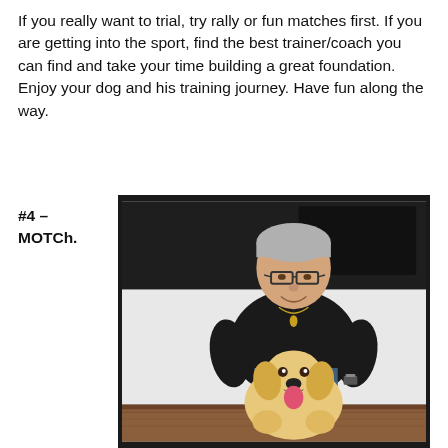If you really want to trial, try rally or fun matches first. If you are getting into the sport, find the best trainer/coach you can find and take your time building a great foundation. Enjoy your dog and his training journey. Have fun along the way.
#4 – MOTCh.
[Figure (photo): A man with gray hair and glasses wearing a black sweater and jeans sits on a chair, with a yellow Labrador puppy sitting between his legs. The man is smiling and wearing a necklace and a watch. The background shows a dark upper area and a white wall below.]